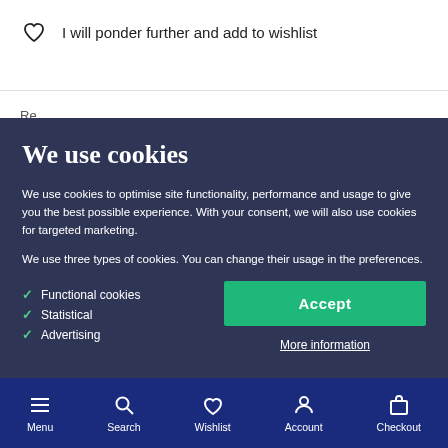I will ponder further and add to wishlist
We use cookies to optimise site functionality, performance and usage to give you the best possible experience. With your consent, we will also use cookies for targeted marketing. We use three types of cookies. You can change their usage in the preferences.
✔ Functional cookies
✔ Statistical
✔ Advertising
Accept
More information
Menu  Search  Wishlist  Account  Checkout